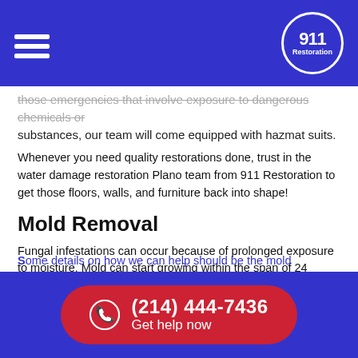911 Restoration logo and navigation menu
those emergencies that involve exposure to dangerous chemicals or substances, our team will come equipped with hazmat suits.
Whenever you need quality restorations done, trust in the water damage restoration Plano team from 911 Restoration to get those floors, walls, and furniture back into shape!
Mold Removal
Fungal infestations can occur because of prolonged exposure to moisture. Mold can start growing within the span of 24 hours, but it can take as much as two weeks before you start noticing any issues.
Mold will feed off of wood which can hasten the deterioration of walls, furniture, and floors.  Another problem it can cause is triggering respiratory concerns like asthma because of the spores it releases.
(214) 444-7436 Get help now